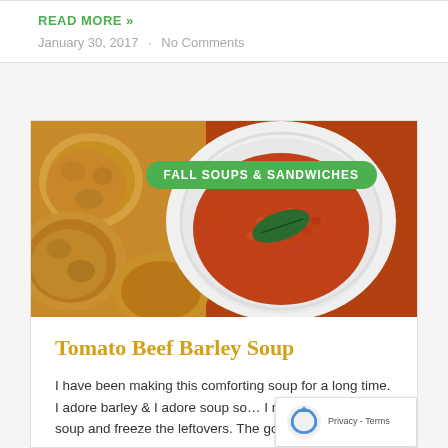READ MORE »
January 30, 2017  ·  No Comments
[Figure (photo): Photo of tomato beef barley soup in a white bowl with biscuits, with a green category label badge reading FALL SOUPS & SANDWICHES]
Tomato Beef Barley Soup
I have been making this comforting soup for a long time. I adore barley & I adore soup so… I make a large pot of soup and freeze the leftovers. The good news